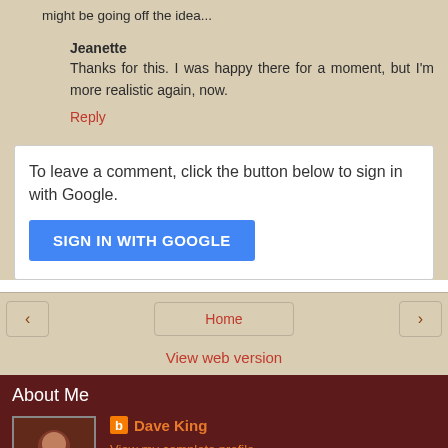might be going off the idea...
Jeanette
Thanks for this. I was happy there for a moment, but I'm more realistic again, now.
Reply
To leave a comment, click the button below to sign in with Google.
SIGN IN WITH GOOGLE
Home
View web version
About Me
Dave King
View my complete profile